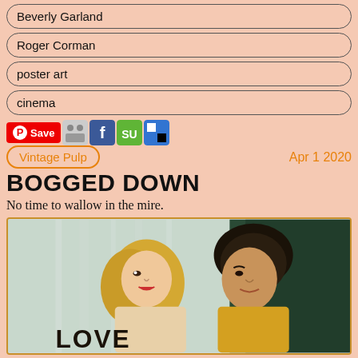Beverly Garland
Roger Corman
poster art
cinema
Save [social share icons: Pinterest, Digg, Facebook, StumbleUpon, Delicious]
Vintage Pulp
Apr 1 2020
BOGGED DOWN
No time to wallow in the mire.
[Figure (illustration): Vintage movie poster illustration showing a blonde woman and dark-haired man facing each other, with 'LOVE' text visible at the bottom, painted in classic pulp style with green and teal background]